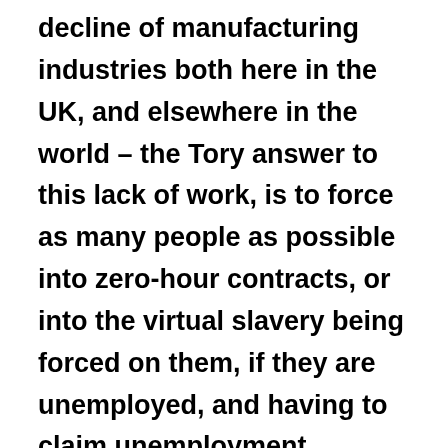decline of manufacturing industries both here in the UK, and elsewhere in the world – the Tory answer to this lack of work, is to force as many people as possible into zero-hour contracts, or into the virtual slavery being forced on them, if they are unemployed, and having to claim unemployment benefits, to work for so-called 'charities', full time, and for